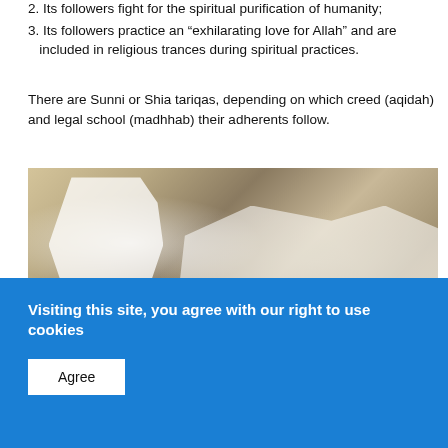2. Its followers fight for the spiritual purification of humanity;
3. Its followers practice an “exhilarating love for Allah” and are included in religious trances during spiritual practices.
There are Sunni or Shia tariqas, depending on which creed (aqidah) and legal school (madhhab) their adherents follow.
[Figure (photo): A gathering of men in Islamic dress, with one man in white robes gesturing while others sit listening in a room.]
Visiting this site, you agree with our right to use cookies